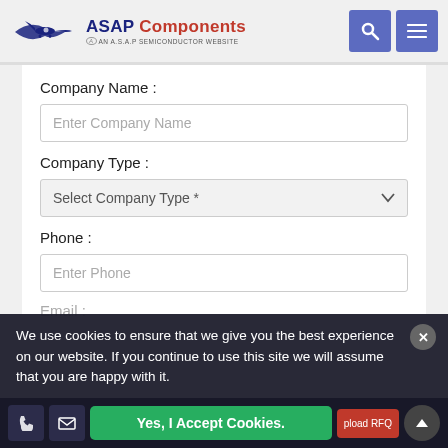ASAP Components - AN A.S.A.P SEMICONDUCTOR WEBSITE
Company Name :
Enter Company Name
Company Type :
Select Company Type *
Phone :
Enter Phone
Email :
We use cookies to ensure that we give you the best experience on our website. If you continue to use this site we will assume that you are happy with it.
Yes, I Accept Cookies.
Upload RFQ